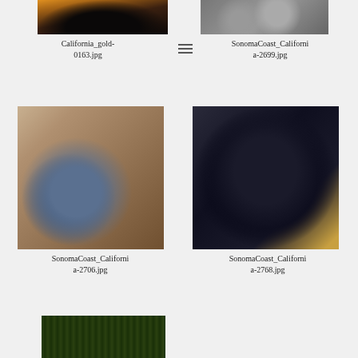[Figure (photo): Sunset/dusk landscape with silhouetted trees and structures against orange sky]
California_gold-0163.jpg
[Figure (photo): Close-up of sandy/gravelly texture with a rounded stone]
SonomaCoast_California-2699.jpg
[Figure (photo): Close-up of a mussel or oyster shell on rocky surface]
[Figure (photo): Close-up of a dense cluster of dark mussels on sandy rock]
SonomaCoast_California-2706.jpg
SonomaCoast_California-2768.jpg
[Figure (photo): Close-up of pine needles or fern-like vegetation on ground]